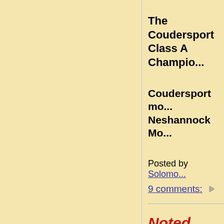The Coudersport... Class A Champio...
Coudersport mo... Neshannock Mo...
Posted by Solomo...
9 comments:
Noted Bu... Austin Da...